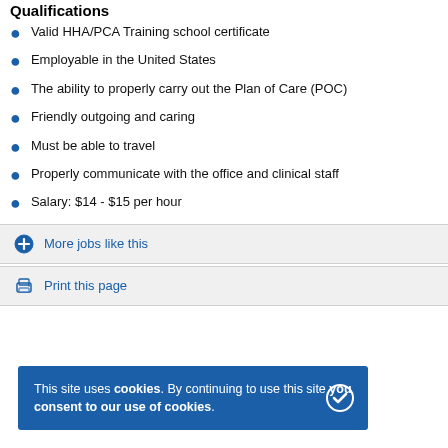Qualifications
Valid HHA/PCA Training school certificate
Employable in the United States
The ability to properly carry out the Plan of Care (POC)
Friendly outgoing and caring
Must be able to travel
Properly communicate with the office and clinical staff
Salary: $14 - $15 per hour
More jobs like this
Print this page
This site uses cookies. By continuing to use this site you consent to our use of cookies.